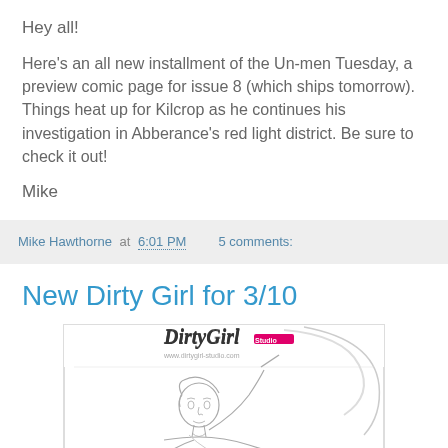Hey all!
Here's an all new installment of the Un-men Tuesday, a preview comic page for issue 8 (which ships tomorrow). Things heat up for Kilcrop as he continues his investigation in Abberance's red light district. Be sure to check it out!
Mike
Mike Hawthorne at 6:01 PM    5 comments:
New Dirty Girl for 3/10
[Figure (illustration): Dirty Girl Studio comic illustration showing a woman reclining and looking up, with the Dirty Girl Studio logo/header at top]